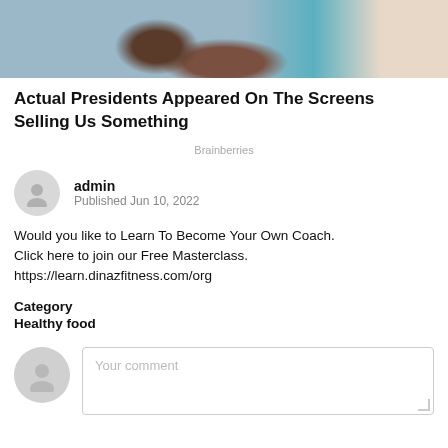[Figure (photo): Cropped photo showing hands and a background with teal/blue and white stripes, partial view of a person's hands/arms]
Actual Presidents Appeared On The Screens Selling Us Something
Brainberries
admin
Published Jun 10, 2022
Would you like to Learn To Become Your Own Coach. Click here to join our Free Masterclass. https://learn.dinazfitness.com/org
Category
Healthy food
Your comment